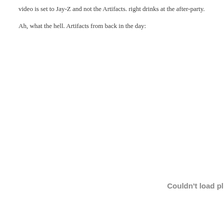video is set to Jay-Z and not the Artifacts. right drinks at the after-party.

Ah, what the hell. Artifacts from back in the day:
[Figure (other): Embedded media content that could not load, showing 'Couldn't load pl' (truncated error message)]